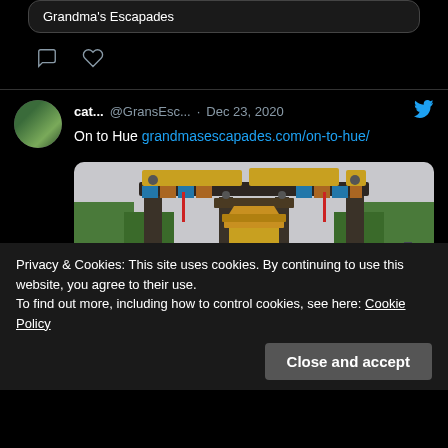Grandma's Escapades
[Figure (screenshot): Tweet by cat... @GransEsc... Dec 23, 2020 with Twitter bird icon. Text: On to Hue grandmasescapades.com/on-to-hue/. Below is a photo of a Vietnamese temple gate (Hue Imperial City) with decorative archways, people walking through, overcast sky, trees in background.]
cat...  @GransEsc...  · Dec 23, 2020
On to Hue grandmasescapades.com/on-to-hue/
Privacy & Cookies: This site uses cookies. By continuing to use this website, you agree to their use.
To find out more, including how to control cookies, see here: Cookie Policy
Close and accept